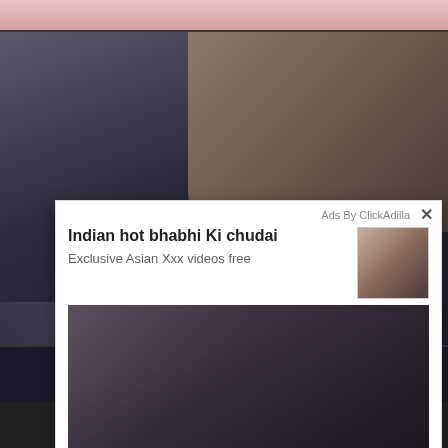[Figure (screenshot): Web page with explicit adult content in background, covered by an advertisement overlay popup from ClickAdilla]
Ads By ClickAdilla
Indian hot bhabhi Ki chudai
Exclusive Asian Xxx videos free
2j5